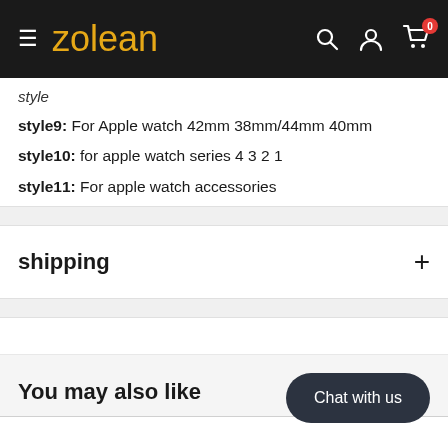zolean
style9: For Apple watch 42mm 38mm/44mm 40mm
style10: for apple watch series 4 3 2 1
style11: For apple watch accessories
shipping
You may also like